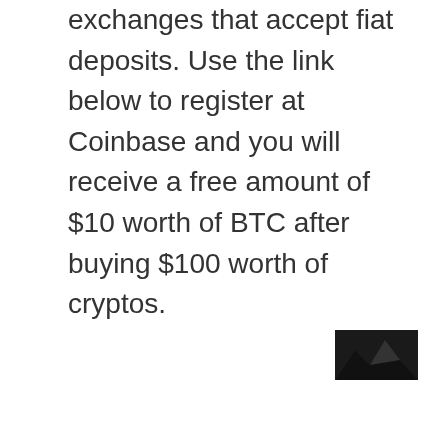exchanges that accept fiat deposits. Use the link below to register at Coinbase and you will receive a free amount of $10 worth of BTC after buying $100 worth of cryptos.
[Figure (photo): Small dark rectangular image/thumbnail in the bottom-right corner, appears to show a mountain or landscape silhouette.]